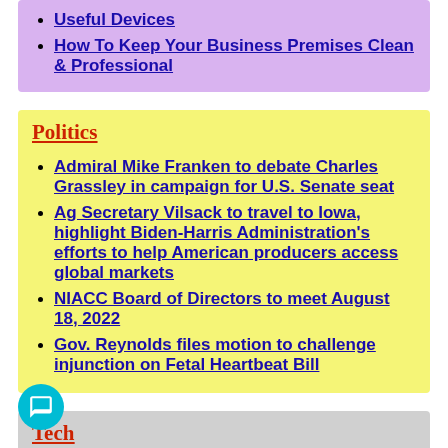Useful Devices
How To Keep Your Business Premises Clean & Professional
Politics
Admiral Mike Franken to debate Charles Grassley in campaign for U.S. Senate seat
Ag Secretary Vilsack to travel to Iowa, highlight Biden-Harris Administration's efforts to help American producers access global markets
NIACC Board of Directors to meet August 18, 2022
Gov. Reynolds files motion to challenge injunction on Fetal Heartbeat Bill
Tech
Become Better At Bowling With These Useful Tips
Be A Reason For Your Friends To Get Together, Organize An Awesome Gathering